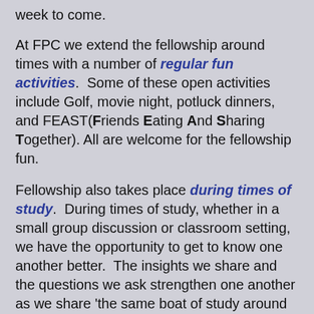week to come.
At FPC we extend the fellowship around times with a number of regular fun activities.  Some of these open activities include Golf, movie night, potluck dinners, and FEAST(Friends Eating And Sharing Together).  All are welcome for the fellowship fun.
Fellowship also takes place during times of study.  During times of study, whether in a small group discussion or classroom setting, we have the opportunity to get to know one another better.  The insights we share and the questions we ask strengthen one another as we share 'the same boat of study around God's Word.'
Being in the same boat serving others' is one